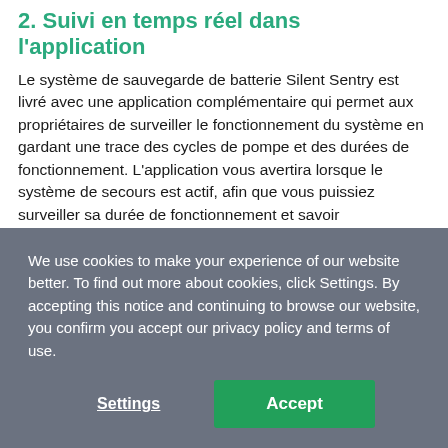2. Suivi en temps réel dans l'application
Le système de sauvegarde de batterie Silent Sentry est livré avec une application complémentaire qui permet aux propriétaires de surveiller le fonctionnement du système en gardant une trace des cycles de pompe et des durées de fonctionnement. L'application vous avertira lorsque le système de secours est actif, afin que vous puissiez surveiller sa durée de fonctionnement et savoir immédiatement si la pompe principale ne fonctionne pas. Vous pouvez également garder un œil sur la durée de vie de la batterie.
Bien que le Batterie de secours silencieuse Sentry est
We use cookies to make your experience of our website better. To find out more about cookies, click Settings. By accepting this notice and continuing to browse our website, you confirm you accept our privacy policy and terms of use.